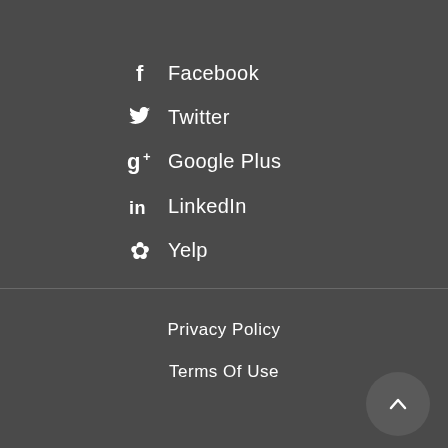Facebook
Twitter
Google Plus
LinkedIn
Yelp
Privacy Policy
Terms Of Use